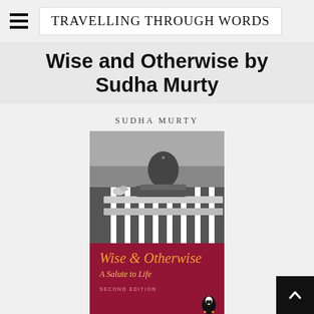Travelling Through Words
Wise and Otherwise by Sudha Murty
[Figure (photo): Book cover of 'Wise & Otherwise: A Salute to Life' second edition by Sudha Murty (Penguin). The cover has two sections: upper half is a black-and-white photo of a woman leaning on a fence with a bird/pigeon on the fence post; lower half has a dark magenta/maroon background with the title 'Wise & Otherwise' in italic gold/orange and subtitle 'A Salute to Life' in italic gold below.]